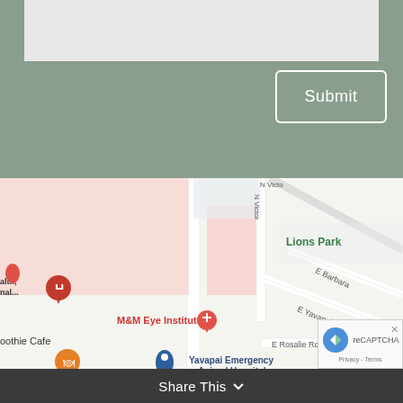[Figure (screenshot): Text input area (grey rectangle) on a muted green background]
[Figure (screenshot): Submit button with white border and white text on muted green background]
[Figure (map): Google Maps screenshot showing M&M Eye Institute, Yavapai Emergency Animal Hospital, Lions Park, E Yavapai Rd, E Barbara Rd, E Rosalie Rd, Florentine Rd, N Victor (street), NextCare Urgent Care, Chase Bank, and smoothie cafe locations with map pins]
Share This
[Figure (screenshot): reCAPTCHA badge with Privacy - Terms text in bottom right corner]